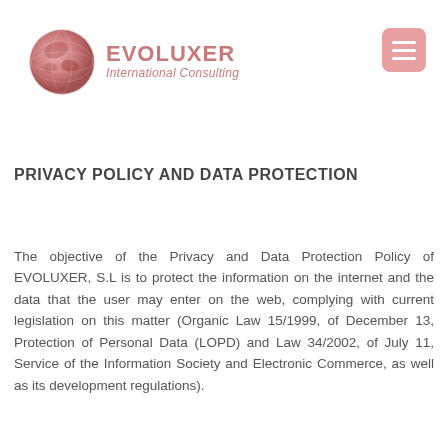[Figure (logo): Evoluxer International Consulting logo with globe icon and company name]
PRIVACY POLICY AND DATA PROTECTION
The objective of the Privacy and Data Protection Policy of EVOLUXER, S.L is to protect the information on the internet and the data that the user may enter on the web, complying with current legislation on this matter (Organic Law 15/1999, of December 13, Protection of Personal Data (LOPD) and Law 34/2002, of July 11, Service of the Information Society and Electronic Commerce, as well as its development regulations).